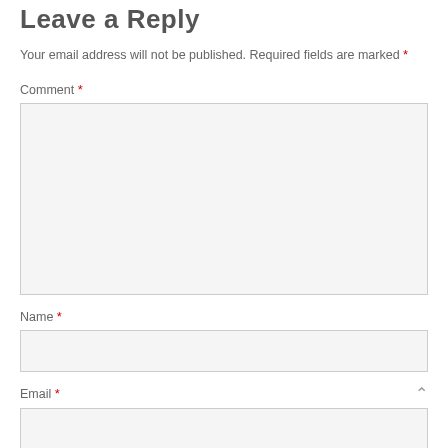Leave a Reply
Your email address will not be published. Required fields are marked *
Comment *
[Figure (screenshot): Large comment textarea input box, empty, with light gray background and border, resize handle at bottom right]
Name *
[Figure (screenshot): Single-line name input box, empty, with light gray background and border]
Email *
[Figure (screenshot): Single-line email input box, partially visible at bottom, empty, with light gray background and border]